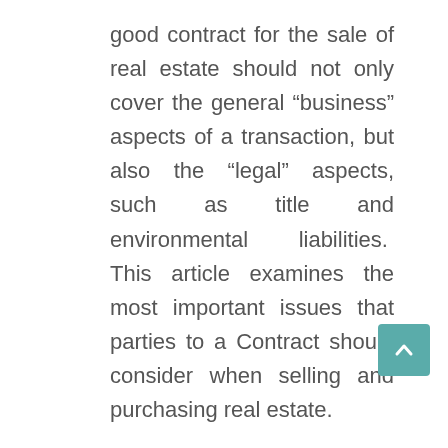good contract for the sale of real estate should not only cover the general “business” aspects of a transaction, but also the “legal” aspects, such as title and environmental liabilities.  This article examines the most important issues that parties to a Contract should consider when selling and purchasing real estate.
FINANCING.  Generally, a seller (Seller) of commercial real estate will require that the buyer (Buyer) pay the purchase price at the closing without regard to whether or not the Buyer will be successful in obtaining a loan on the property to finance the purchase price.  Therefore, without a financing contingency, if the Buyer is unable to fund